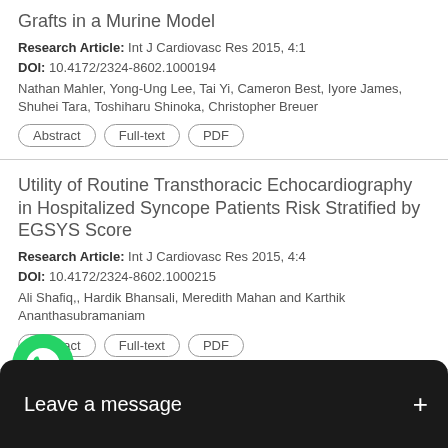Grafts in a Murine Model
Research Article: Int J Cardiovasc Res 2015, 4:1
DOI: 10.4172/2324-8602.1000194
Nathan Mahler, Yong-Ung Lee, Tai Yi, Cameron Best, Iyore James, Shuhei Tara, Toshiharu Shinoka, Christopher Breuer
Abstract | Full-text | PDF
Utility of Routine Transthoracic Echocardiography in Hospitalized Syncope Patients Risk Stratified by EGSYS Score
Research Article: Int J Cardiovasc Res 2015, 4:4
DOI: 10.4172/2324-8602.1000215
Ali Shafiq,, Hardik Bhansali, Meredith Mahan and Karthik Ananthasubramaniam
Abstract | Full-text | PDF
municable Disease Symptoms of Blood-
Edito   DOI:
[Figure (screenshot): WhatsApp messaging overlay with green WhatsApp icon and 'Leave a message +' prompt on dark background]